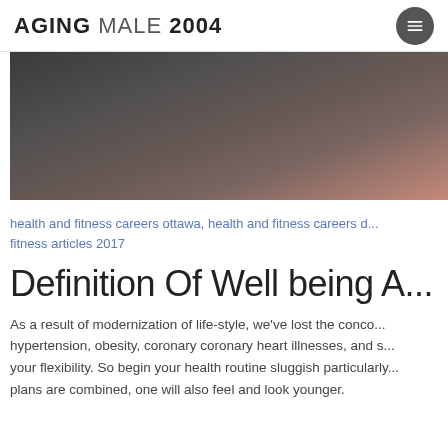AGING MALE 2004
[Figure (photo): Dark toned photo, appears to be a person or indoor scene with muted browns and grays]
health and fitness careers ottawa, health and fitness careers d... fitness articles 2017
Definition Of Well being A...
As a result of modernization of life-style, we've lost the conco... hypertension, obesity, coronary coronary heart illnesses, and s... your flexibility. So begin your health routine sluggish particularly... plans are combined, one will also feel and look younger.